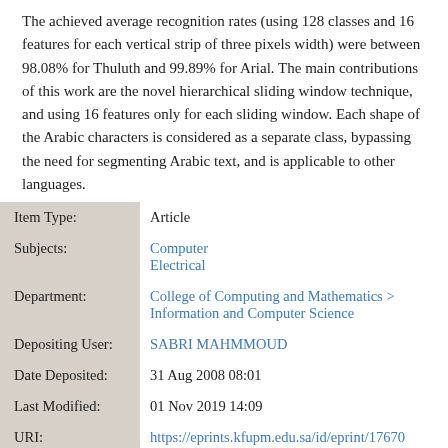The achieved average recognition rates (using 128 classes and 16 features for each vertical strip of three pixels width) were between 98.08% for Thuluth and 99.89% for Arial. The main contributions of this work are the novel hierarchical sliding window technique, and using 16 features only for each sliding window. Each shape of the Arabic characters is considered as a separate class, bypassing the need for segmenting Arabic text, and is applicable to other languages.
| Field | Value |
| --- | --- |
| Item Type: | Article |
| Subjects: | Computer
Electrical |
| Department: | College of Computing and Mathematics > Information and Computer Science |
| Depositing User: | SABRI MAHMMOUD |
| Date Deposited: | 31 Aug 2008 08:01 |
| Last Modified: | 01 Nov 2019 14:09 |
| URI: | https://eprints.kfupm.edu.sa/id/eprint/17670 |